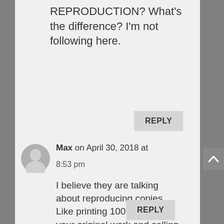REPRODUCTION? What's the difference? I'm not following here.
REPLY
Max on April 30, 2018 at 8:53 pm
I believe they are talking about reproducing copies. Like printing 100 copies of your original work and selling them for profit.
REPLY